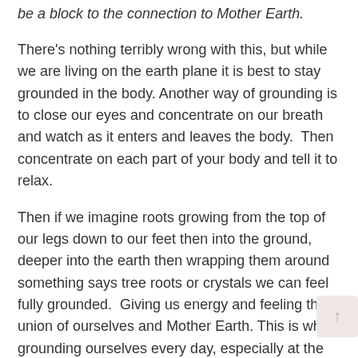be a block to the connection to Mother Earth.
There's nothing terribly wrong with this, but while we are living on the earth plane it is best to stay grounded in the body. Another way of grounding is to close our eyes and concentrate on our breath and watch as it enters and leaves the body.  Then concentrate on each part of your body and tell it to relax.
Then if we imagine roots growing from the top of our legs down to our feet then into the ground, deeper into the earth then wrapping them around something says tree roots or crystals we can feel fully grounded.  Giving us energy and feeling the union of ourselves and Mother Earth. This is why grounding ourselves every day, especially at the beginning of the day, is such a beneficial practice.
This practice is as simple as bringing our conscious awareness to our bodies and the earth on which we walk.